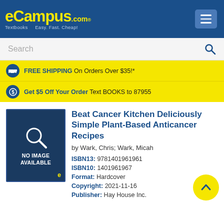eCampus.com Textbooks Easy. Fast. Cheap!
Search
FREE SHIPPING On Orders Over $35!*
Get $5 Off Your Order Text BOOKS to 87955
[Figure (other): No Image Available placeholder with magnifying glass icon and eCampus e logo]
Beat Cancer Kitchen Deliciously Simple Plant-Based Anticancer Recipes
by Wark, Chris; Wark, Micah
ISBN13: 9781401961961
ISBN10: 1401961967
Format: Hardcover
Copyright: 2021-11-16
Publisher: Hay House Inc.